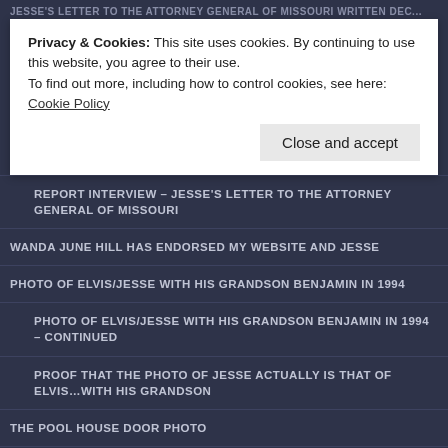JESSE'S LETTER TO THE ATTORNEY GENERAL OF MISSOURI WRITTEN DEC...
Privacy & Cookies: This site uses cookies. By continuing to use this website, you agree to their use.
To find out more, including how to control cookies, see here: Cookie Policy
REPORT INTERVIEW – JESSE'S LETTER TO THE ATTORNEY GENERAL OF MISSOURI
WANDA JUNE HILL HAS ENDORSED MY WEBSITE AND JESSE
PHOTO OF ELVIS/JESSE WITH HIS GRANDSON BENJAMIN IN 1994
PHOTO OF ELVIS/JESSE WITH HIS GRANDSON BENJAMIN IN 1994 – CONTINUED
PROOF THAT THE PHOTO OF JESSE ACTUALLY IS THAT OF ELVIS…WITH HIS GRANDSON
THE POOL HOUSE DOOR PHOTO
ELVIS WAS STILL ALIVE ON JUNE 18, 1990 WITHOUT A DOUBT. JOE ESPOSITO ON GERALDO